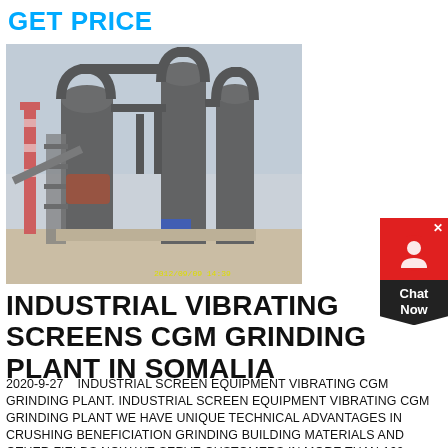GET PRICE
[Figure (photo): Industrial grinding plant facility with large metal machinery, pipes, and cyclone separators against a hazy sky. Timestamp 2012/09/09 14:39 visible in yellow.]
INDUSTRIAL VIBRATING SCREENS CGM GRINDING PLANT IN SOMALIA
2020-9-27    INDUSTRIAL SCREEN EQUIPMENT VIBRATING CGM GRINDING PLANT. INDUSTRIAL SCREEN EQUIPMENT VIBRATING CGM GRINDING PLANT WE HAVE UNIQUE TECHNICAL ADVANTAGES IN CRUSHING BENEFICIATION GRINDING BUILDING MATERIALS AND OTHER FIELDS NOW WE SERVE CUSTOMERS IN MORE THAN 160